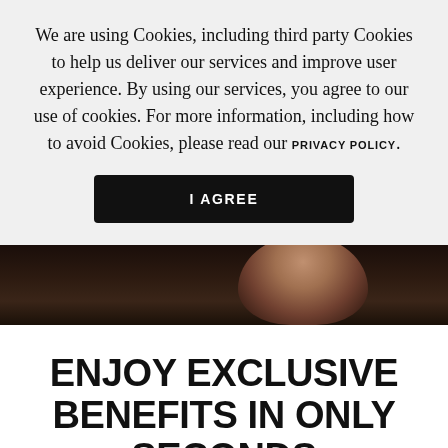We are using Cookies, including third party Cookies to help us deliver our services and improve user experience. By using our services, you agree to our use of cookies. For more information, including how to avoid Cookies, please read our PRIVACY POLICY.
I AGREE
[Figure (photo): Dark hero banner image showing a partial view of a person's face/neck against a very dark background]
ENJOY EXCLUSIVE BENEFITS IN ONLY SECONDS
We're now including something extra with the